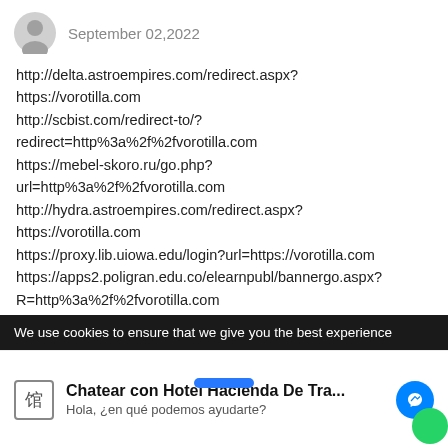September 02,2022
http://delta.astroempires.com/redirect.aspx?
https://vorotilla.com
http://scbist.com/redirect-to/?
redirect=http%3a%2f%2fvorotilla.com
https://mebel-skoro.ru/go.php?
url=http%3a%2f%2fvorotilla.com
http://hydra.astroempires.com/redirect.aspx?
https://vorotilla.com
https://proxy.lib.uiowa.edu/login?url=https://vorotilla.com
https://apps2.poligran.edu.co/elearnpubl/bannergo.aspx?
R=http%3a%2f%2fvorotilla.com
http://35school.lbbs.info/loc.php?url=https://vorotilla.com
http://nytvasport.ru/user/BertieDonovan38/
We use cookies to ensure that we give you the best experience
Chatear con Hotel Hacienda De Tra...
Hola, ¿en qué podemos ayudarte?